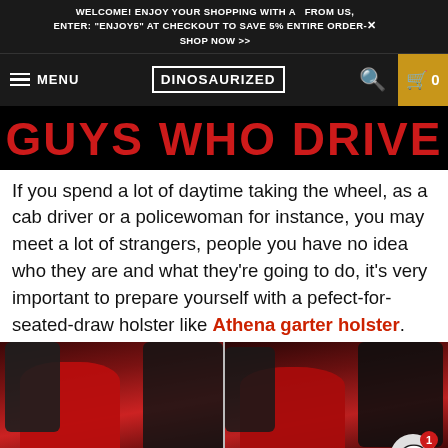WELCOME! ENJOY YOUR SHOPPING WITH A  FROM US, ENTER: "ENJOY5" AT CHECKOUT TO SAVE 5% ENTIRE ORDER- ✕ SHOP NOW >>
[Figure (screenshot): Navigation bar with hamburger menu, DINOSAURIZED logo in box, search icon, and cart icon with 0 items on dark background]
GUYS WHO DRIVE
If you spend a lot of daytime taking the wheel, as a cab driver or a policewoman for instance, you may meet a lot of strangers, people you have no idea who they are and what they're going to do, it's very important to prepare yourself with a pefect-for-seated-draw holster like Athena garter holster.
[Figure (photo): Two side-by-side photos of a woman wearing a red dress with a black leather jacket, demonstrating garter holster placement]